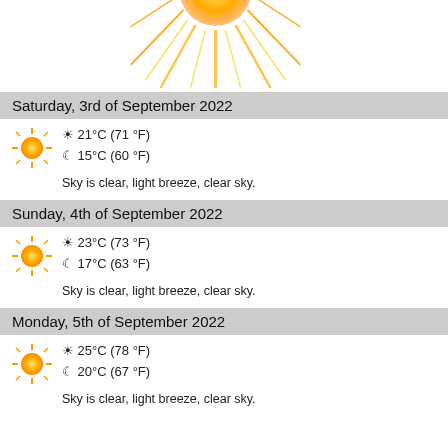[Figure (illustration): Partially visible sun illustration with golden rays at top of page]
Saturday, 3rd of September 2022
[Figure (illustration): Small sun emoji/icon]
☀  21°C (71 °F)
☾  15°C (60 °F)
Sky is clear, light breeze, clear sky.
Sunday, 4th of September 2022
[Figure (illustration): Small sun emoji/icon]
☀  23°C (73 °F)
☾  17°C (63 °F)
Sky is clear, light breeze, clear sky.
Monday, 5th of September 2022
[Figure (illustration): Small sun emoji/icon]
☀  25°C (78 °F)
☾  20°C (67 °F)
Sky is clear, light breeze, clear sky.